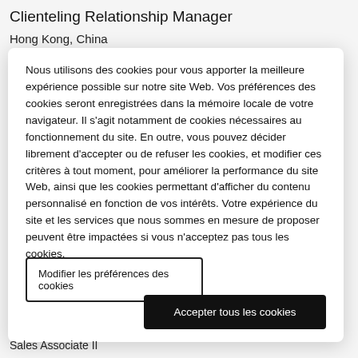Clienteling Relationship Manager
Hong Kong, China
Nous utilisons des cookies pour vous apporter la meilleure expérience possible sur notre site Web. Vos préférences des cookies seront enregistrées dans la mémoire locale de votre navigateur. Il s'agit notamment de cookies nécessaires au fonctionnement du site. En outre, vous pouvez décider librement d'accepter ou de refuser les cookies, et modifier ces critères à tout moment, pour améliorer la performance du site Web, ainsi que les cookies permettant d'afficher du contenu personnalisé en fonction de vos intérêts. Votre expérience du site et les services que nous sommes en mesure de proposer peuvent être impactées si vous n'acceptez pas tous les cookies.
Modifier les préférences des cookies
Accepter tous les cookies
Sales Associate II